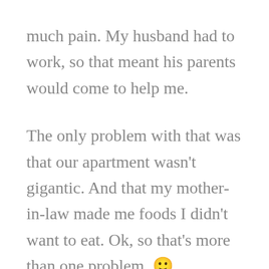much pain. My husband had to work, so that meant his parents would come to help me.
The only problem with that was that our apartment wasn't gigantic. And that my mother-in-law made me foods I didn't want to eat. Ok, so that's more than one problem. 🙂
When you're stuck inside with people that you don't speak their native